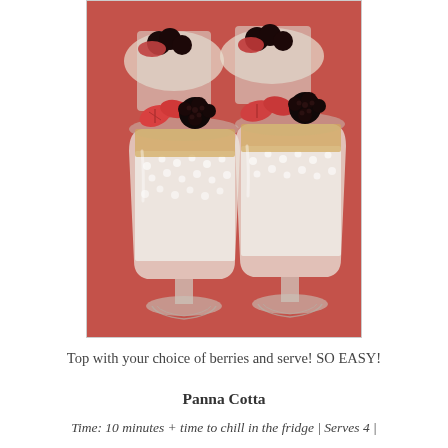[Figure (photo): Photo of panna cotta desserts served in decorative crystal glasses topped with fresh strawberries and blackberries on a red surface]
Top with your choice of berries and serve! SO EASY!
Panna Cotta
Time: 10 minutes + time to chill in the fridge | Serves 4 |